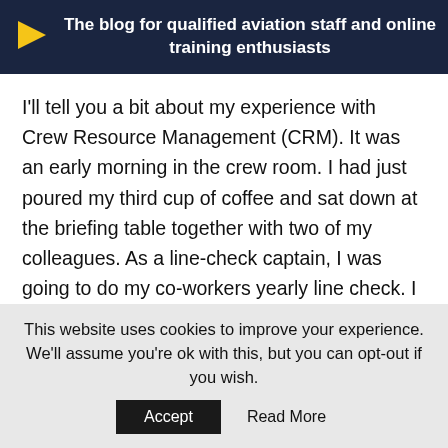The blog for qualified aviation staff and online training enthusiasts
I'll tell you a bit about my experience with Crew Resource Management (CRM). It was an early morning in the crew room. I had just poured my third cup of coffee and sat down at the briefing table together with two of my colleagues. As a line-check captain, I was going to do my co-workers yearly line check. I knew them both very well and had flown with both of them previously on the line. They were both great guys and good pilots so I expected the check to progress without . .
This website uses cookies to improve your experience. We'll assume you're ok with this, but you can opt-out if you wish.